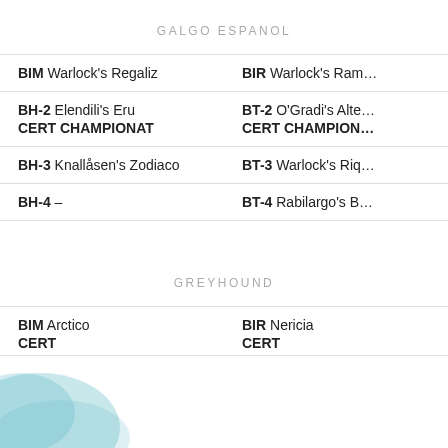GALGO ESPANOL
| BIM Warlock's Regaliz | BIR Warlock's Ram… |
| BH-2 Elendili's Eru
CERT CHAMPIONAT | BT-2 O'Gradi's Alte…
CERT CHAMPION… |
| BH-3 Knallåsen's Zodiaco | BT-3 Warlock's Riq… |
| BH-4 – | BT-4 Rabilargo's B… |
GREYHOUND
| BIM Arctico
CERT | BIR Nericia
CERT |